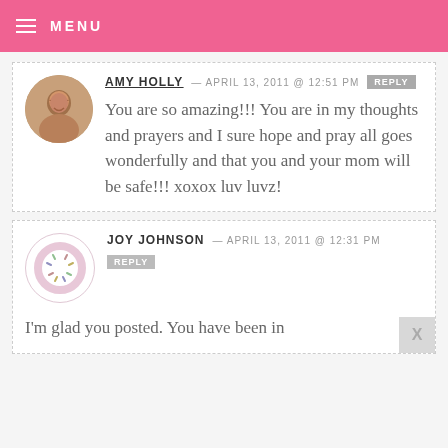MENU
AMY HOLLY — APRIL 13, 2011 @ 12:51 PM REPLY
You are so amazing!!! You are in my thoughts and prayers and I sure hope and pray all goes wonderfully and that you and your mom will be safe!!! xoxox luv luvz!
JOY JOHNSON — APRIL 13, 2011 @ 12:31 PM REPLY
I'm glad you posted. You have been in